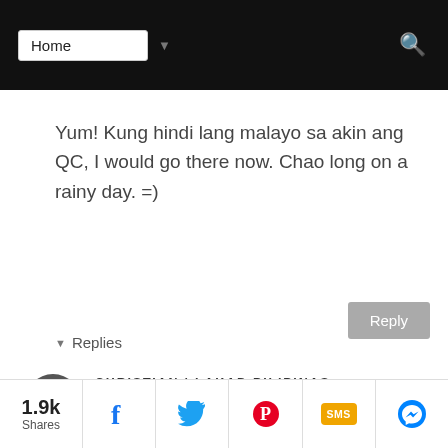Home
Yum! Kung hindi lang malayo sa akin ang QC, I would go there now. Chao long on a rainy day. =)
▼ Replies
CHRISTIAN | LAKAD PILIPINAS
July 22, 2014 at 10:44 AM
Mas malayong puntahan ang Puerto Princesa, dayo na Clairel :)
1.9k Shares